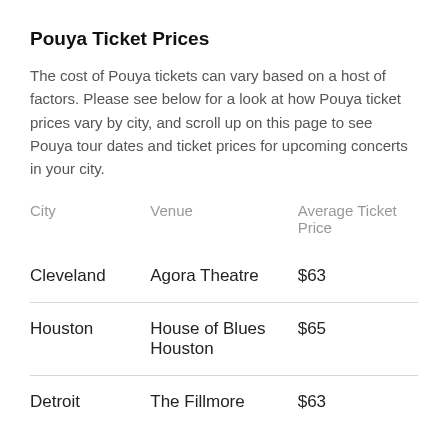Pouya Ticket Prices
The cost of Pouya tickets can vary based on a host of factors. Please see below for a look at how Pouya ticket prices vary by city, and scroll up on this page to see Pouya tour dates and ticket prices for upcoming concerts in your city.
| City | Venue | Average Ticket Price |
| --- | --- | --- |
| Cleveland | Agora Theatre | $63 |
| Houston | House of Blues Houston | $65 |
| Detroit | The Fillmore | $63 |